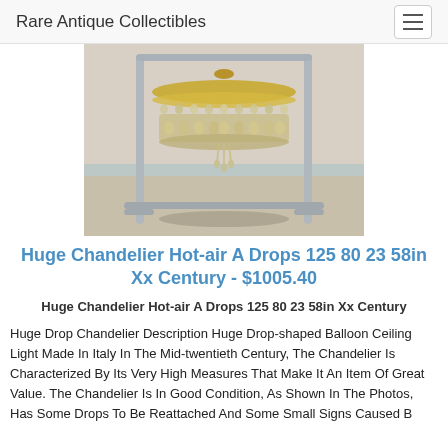Rare Antique Collectibles
[Figure (photo): A large crystal chandelier displayed on a chrome stand/rack in what appears to be a bathroom or tiled room setting. The chandelier has multiple tiers of crystal drops and a wide circular shape.]
Huge Chandelier Hot-air A Drops 125 80 23 58in Xx Century - $1005.40
Huge Chandelier Hot-air A Drops 125 80 23 58in Xx Century
Huge Drop Chandelier Description Huge Drop-shaped Balloon Ceiling Light Made In Italy In The Mid-twentieth Century, The Chandelier Is Characterized By Its Very High Measures That Make It An Item Of Great Value. The Chandelier Is In Good Condition, As Shown In The Photos, Has Some Drops To Be Reattached And Some Small Signs Caused B